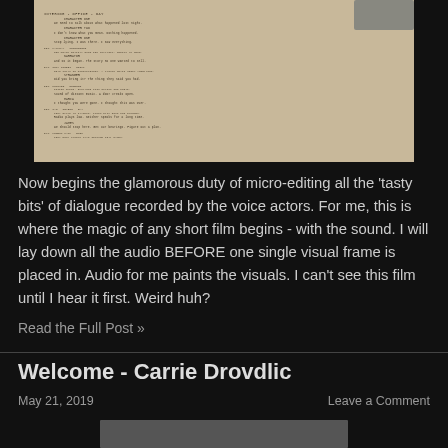[Figure (photo): A photograph of a printed script/screenplay document with typewritten text, shot at an angle on a dark background, with a keyboard visible at the top edge. The paper has a sepia/warm tone.]
Now begins the glamorous duty of micro-editing all the 'tasty bits' of dialogue recorded by the voice actors. For me, this is where the magic of any short film begins - with the sound. I will lay down all the audio BEFORE one single visual frame is placed in. Audio for me paints the visuals. I can't see this film until I hear it first. Weird huh?
Read the Full Post »
Welcome - Carrie Drovdlic
May 21, 2019
Leave a Comment
[Figure (photo): Partial view of a photograph at the bottom of the page, cut off.]